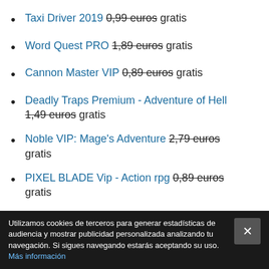Taxi Driver 2019 0,99 euros gratis
Word Quest PRO 1,89 euros gratis
Cannon Master VIP 0,89 euros gratis
Deadly Traps Premium - Adventure of Hell 1,49 euros gratis
Noble VIP: Mage's Adventure 2,79 euros gratis
PIXEL BLADE Vip - Action rpg 0,89 euros gratis
Shadow of Death: Dark Knight - Stickman
Utilizamos cookies de terceros para generar estadísticas de audiencia y mostrar publicidad personalizada analizando tu navegación. Si sigues navegando estarás aceptando su uso. Más información